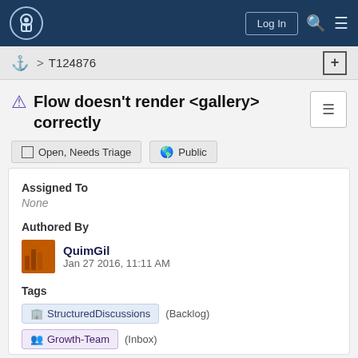[Figure (screenshot): Wikimedia project task tracker navigation bar with logo, Log In button, search and menu icons on dark blue background]
⚓ > T124876
⚠ Flow doesn't render <gallery> correctly
Open, Needs Triage   Public
Assigned To
None
Authored By
QuimGil
Jan 27 2016, 11:11 AM
Tags
StructuredDiscussions (Backlog)
Growth-Team (Inbox)
Parsoid (Tracking)
Growth-Team-Filtering